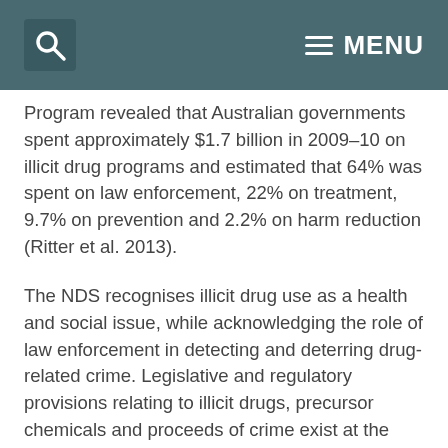MENU
Program revealed that Australian governments spent approximately $1.7 billion in 2009–10 on illicit drug programs and estimated that 64% was spent on law enforcement, 22% on treatment, 9.7% on prevention and 2.2% on harm reduction (Ritter et al. 2013).
The NDS recognises illicit drug use as a health and social issue, while acknowledging the role of law enforcement in detecting and deterring drug-related crime. Legislative and regulatory provisions relating to illicit drugs, precursor chemicals and proceeds of crime exist at the national level (for example, border protection and compliance), but most action (including expenditure) in relation to illicit drugs rests with the states and territories (Ritter et al. 2013).
Many national initiatives are implemented under the NDS, including the National Drugs Campaign. This is a